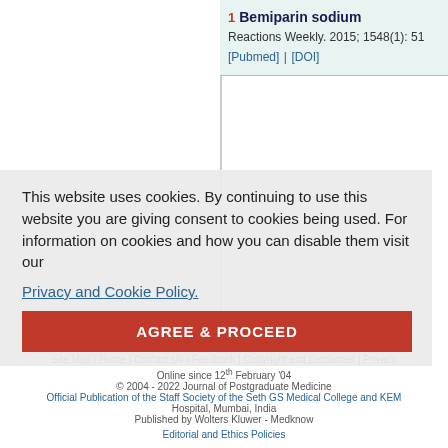1 Bemiparin sodium
Reactions Weekly. 2015; 1548(1): 51
[Pubmed] | [DOI]
[Figure (screenshot): Print this article button with printer icon, orange border]
Previous A
Next Article
This website uses cookies. By continuing to use this website you are giving consent to cookies being used. For information on cookies and how you can disable them visit our
Privacy and Cookie Policy.
AGREE & PROCEED
Site Map | Home | Contact Us | Feedback | Copyright and Disclaimer | Privacy
Online since 12th February '04
© 2004 - 2022 Journal of Postgraduate Medicine
Official Publication of the Staff Society of the Seth GS Medical College and KEM
Hospital, Mumbai, India
Published by Wolters Kluwer - Medknow
Editorial and Ethics Policies